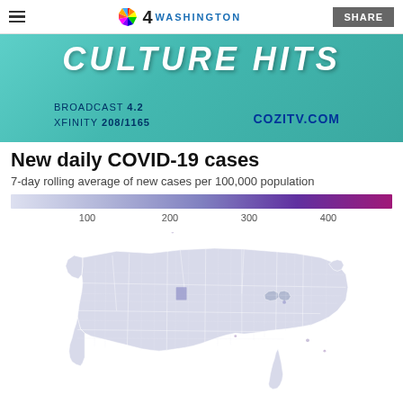NBC 4 Washington | SHARE
[Figure (photo): Advertisement banner for Cozi TV showing 'Culture Hits' with text: BROADCAST 4.2, XFINITY 208/1165, COZITV.COM]
New daily COVID-19 cases
7-day rolling average of new cases per 100,000 population
[Figure (map): Choropleth map of the United States showing new daily COVID-19 cases (7-day rolling average per 100,000 population). Color scale ranges from light lavender (low, near 100) to dark magenta/purple (high, 400+). Most counties appear in light lavender indicating low case rates. A few counties in the midwest and southeast show slightly darker purple shading.]